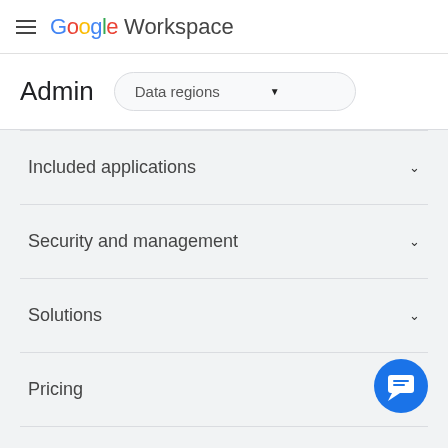Google Workspace
Admin
Data regions
Included applications
Security and management
Solutions
Pricing